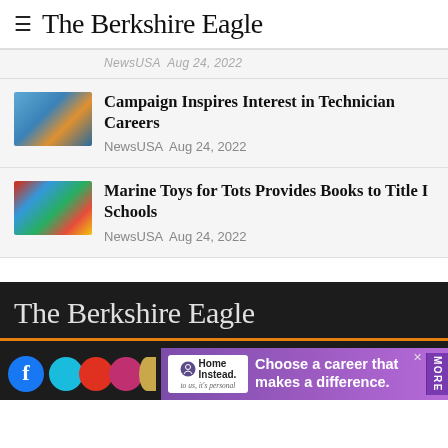The Berkshire Eagle
NewsUSA  Aug 24, 2022
Campaign Inspires Interest in Technician Careers
NewsUSA  Aug 24, 2022
Marine Toys for Tots Provides Books to Title I Schools
NewsUSA  Aug 24, 2022
The Berkshire Eagle
Choose a career that makes a difference.